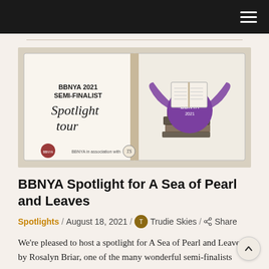Navigation bar with hamburger menu
[Figure (illustration): BBNYA 2021 Semi-Finalist Spotlight Tour banner showing an open book illustration with a stack of purple-ribbon books and BBNYA seal logo. Text reads: BBNYA 2021 SEMI-FINALIST Spotlight tour. BBNYA in association with [logo].]
BBNYA Spotlight for A Sea of Pearl and Leaves
Spotlights / August 18, 2021 / Trudie Skies / Share
We're pleased to host a spotlight for A Sea of Pearl and Leaves by Rosalyn Briar, one of the many wonderful semi-finalists